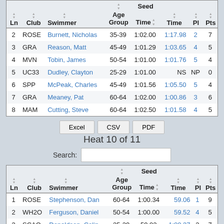| Ln | Club | Swimmer | Age Group | Seed Time | Time | Pl | Pts |
| --- | --- | --- | --- | --- | --- | --- | --- |
| 2 | ROSE | Burnett, Nicholas | 35-39 | 1:02.00 | 1:17.98 | 2 | 7 |
| 3 | GRA | Reason, Matt | 45-49 | 1:01.29 | 1:03.65 | 4 | 5 |
| 4 | MVN | Tobin, James | 50-54 | 1:01.00 | 1:01.76 | 5 | 4 |
| 5 | UC33 | Dudley, Clayton | 25-29 | 1:01.00 | NS | NP | 0 |
| 6 | SPP | McPeak, Charles | 45-49 | 1:01.56 | 1:05.50 | 5 | 4 |
| 7 | GRA | Meaney, Pat | 60-64 | 1:02.00 | 1:00.86 | 3 | 6 |
| 8 | MAM | Cutting, Steve | 60-64 | 1:02.50 | 1:01.58 | 4 | 5 |
Excel  CSV  PDF
Heat 10 of 11
Search:
| Ln | Club | Swimmer | Age Group | Seed Time | Time | Pl | Pts |
| --- | --- | --- | --- | --- | --- | --- | --- |
| 1 | ROSE | Stephenson, Dan | 60-64 | 1:00.34 | 59.06 | 1 | 9 |
| 2 | WH2O | Ferguson, Daniel | 50-54 | 1:00.00 | 59.52 | 4 | 5 |
| 3 | SCAQ | Donaldson, Colin | 25-29 | 59.02 | 1:00.37 | 2 | 7 |